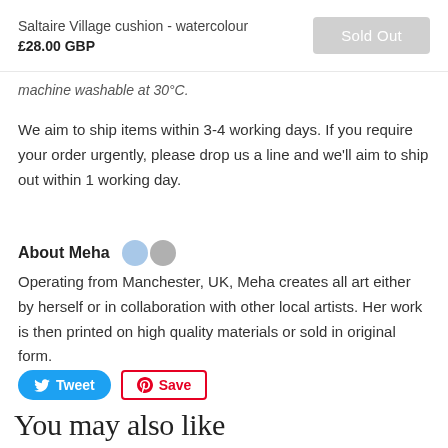Saltaire Village cushion - watercolour
£28.00 GBP
machine washable at 30°C.
We aim to ship items within 3-4 working days. If you require your order urgently, please drop us a line and we'll aim to ship out within 1 working day.
About Meha
Operating from Manchester, UK, Meha creates all art either by herself or in collaboration with other local artists. Her work is then printed on high quality materials or sold in original form.
Tweet   Save
You may also like